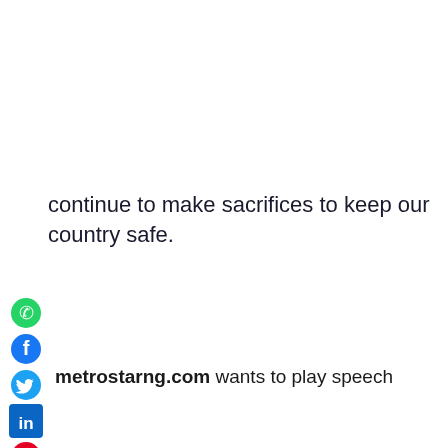continue to make sacrifices to keep our country safe.
[Figure (infographic): Social media share icons arranged vertically on the left side: WhatsApp (green), Facebook (blue), Twitter (light blue), LinkedIn (dark blue), Pinterest (red), Reddit (orange-red), Email (red envelope), Print (dark blue printer)]
metrostarng.com wants to play speech